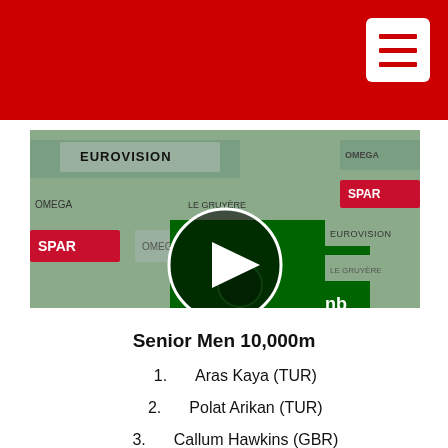[Figure (photo): Video thumbnail of an Ireland athlete in green jersey at a track event with Eurovision and SPAR sponsor banners in background. Shows a play button overlay and 'Posted by Athletics Ireland' caption.]
Senior Men 10,000m
1.  Aras Kaya (TUR)
2.  Polat Arikan (TUR)
3.  Callum Hawkins (GBR)